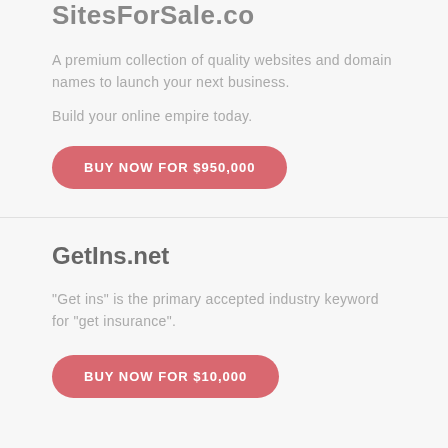SitesForSale.co
A premium collection of quality websites and domain names to launch your next business.
Build your online empire today.
BUY NOW FOR $950,000
GetIns.net
"Get ins" is the primary accepted industry keyword for "get insurance".
BUY NOW FOR $10,000